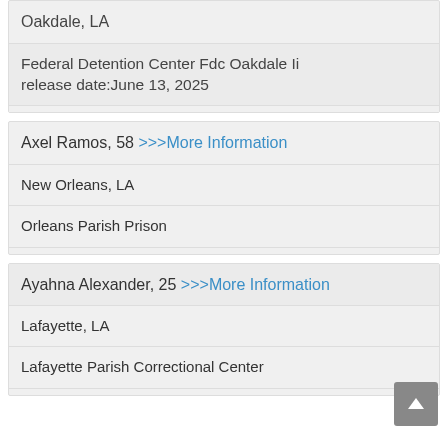Oakdale, LA
Federal Detention Center Fdc Oakdale Ii release date:June 13, 2025
Axel Ramos, 58 >>>More Information
New Orleans, LA
Orleans Parish Prison
Ayahna Alexander, 25 >>>More Information
Lafayette, LA
Lafayette Parish Correctional Center